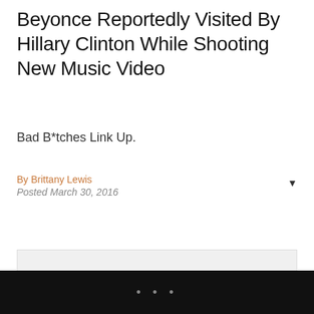Beyonce Reportedly Visited By Hillary Clinton While Shooting New Music Video
Bad B*tches Link Up.
By Brittany Lewis
Posted March 30, 2016
[Figure (other): A light gray image placeholder bar]
BBLU?
• • •